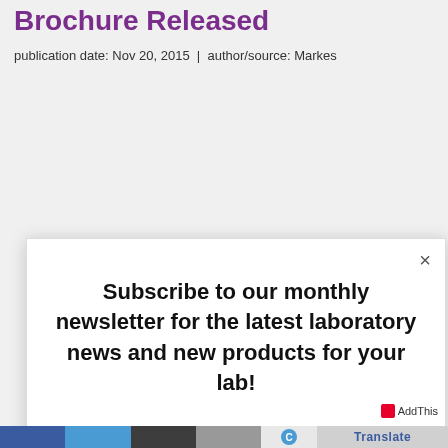Brochure Released
publication date: Nov 20, 2015  |  author/source: Markes
[Figure (screenshot): Modal popup with newsletter subscription message and two buttons: 'Yes please!' (green) and 'No, thanks!' (gray). Includes a close (×) button in the top right corner.]
Subscribe to our monthly newsletter for the latest laboratory news and new products for your lab!
Yes please!
No, thanks!